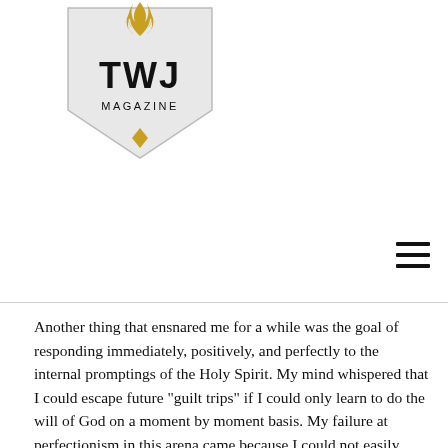[Figure (logo): TWJ Magazine logo: a shield shape with a flame at the top, bold text 'TWJ' and smaller text 'MAGAZINE' below, with a small downward pointing diamond at the bottom of the shield.]
Another thing that ensnared me for a while was the goal of responding immediately, positively, and perfectly to the internal promptings of the Holy Spirit. My mind whispered that I could escape future "guilt trips" if I could only learn to do the will of God on a moment by moment basis. My failure at perfectionism in this arena came because I could not easily differentiate between the promptings of the Spirit of God and the impulses of my own demented mind.
The following is but one day's example of the way it was:
Driving back from a city approximately thirty-five miles away, my passenger and I had passed a motorist possibly in need of help.